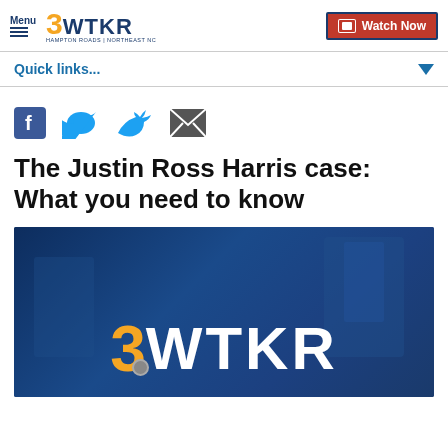Menu  3WTKR  HAMPTON ROADS | NORTHEAST NC  Watch Now
Quick links...
[Figure (other): Social share icons: Facebook, Twitter, Email]
The Justin Ross Harris case: What you need to know
[Figure (screenshot): 3WTKR logo on dark blue background video thumbnail]